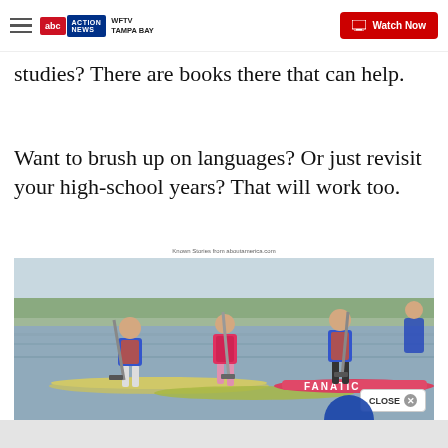WFTV Tampa Bay — Watch Now
studies? There are books there that can help.
Want to brush up on languages? Or just revisit your high-school years? That will work too.
Known Stories from aboutamerica.com
[Figure (photo): Three people paddle boarding on a body of water, wearing blue shirts and life vests, leaning forward with paddles in the water. Two paddle boards visible, one blue and one red/pink with text.]